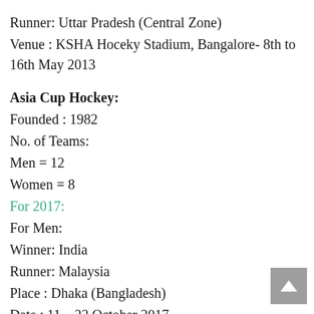Runner: Uttar Pradesh (Central Zone)
Venue : KSHA Hoceky Stadium, Bangalore- 8th to 16th May 2013
Asia Cup Hockey:
Founded : 1982
No. of Teams:
Men = 12
Women = 8
For 2017:
For Men:
Winner: India
Runner: Malaysia
Place : Dhaka (Bangladesh)
Date : 11 – 22 October 2017
Men Hockey Asia Cup – 2021: